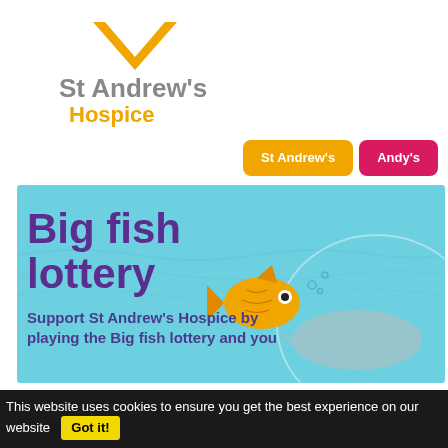[Figure (logo): St Andrew's Hospice logo: gold chevron/roof shape above text 'St Andrew's' in grey bold and 'Hospice' in gold]
St Andrew's
Hospice
St Andrew's
Andy's
[Figure (illustration): Big fish lottery banner: light blue aquatic background with wave lines, purple bold text 'Big fish lottery', cartoon orange fish with bubbles, grey whale silhouette]
Support St Andrew's Hospice by playing the Big fish lottery and you
This website uses cookies to ensure you get the best experience on our website  Got it!